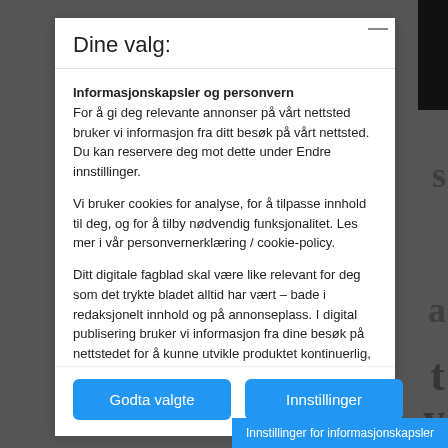Dine valg:
Informasjonskapsler og personvern
For å gi deg relevante annonser på vårt nettsted bruker vi informasjon fra ditt besøk på vårt nettsted. Du kan reservere deg mot dette under Endre innstillinger.
Vi bruker cookies for analyse, for å tilpasse innhold til deg, og for å tilby nødvendig funksjonalitet. Les mer i vår personvernerklæring / cookie-policy.
Ditt digitale fagblad skal være like relevant for deg som det trykte bladet alltid har vært – bade i redaksjonelt innhold og på annonseplass. I digital publisering bruker vi informasjon fra dine besøk på nettstedet for å kunne utvikle produktet kontinuerlig, slik at du opplever det nyttig og relevant.
Godta valgte
Innstillinger
Innstillinger for informasjonskapsler